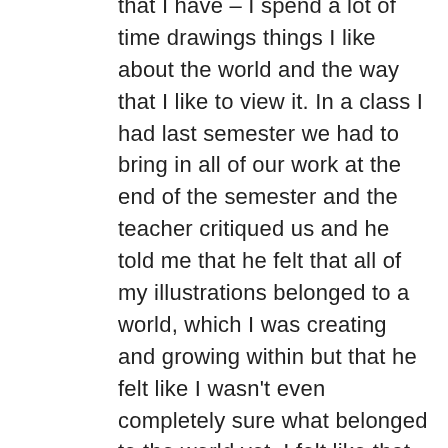that I have – I spend a lot of time drawings things I like about the world and the way that I like to view it. In a class I had last semester we had to bring in all of our work at the end of the semester and the teacher critiqued us and he told me that he felt that all of my illustrations belonged to a world, which I was creating and growing within but that he felt like I wasn't even completely sure what belonged to the world yet. I felt like that was a really good way to describe what I make – I think that in my career as an artist I have been growing and creating this world